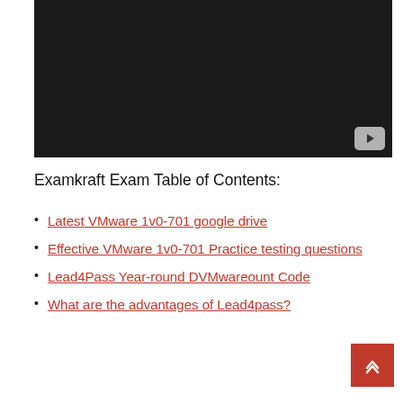[Figure (screenshot): Dark video player with YouTube icon button in bottom-right corner]
Examkraft Exam Table of Contents:
Latest VMware 1v0-701 google drive
Effective VMware 1v0-701 Practice testing questions
Lead4Pass Year-round DVMwareount Code
What are the advantages of Lead4pass?